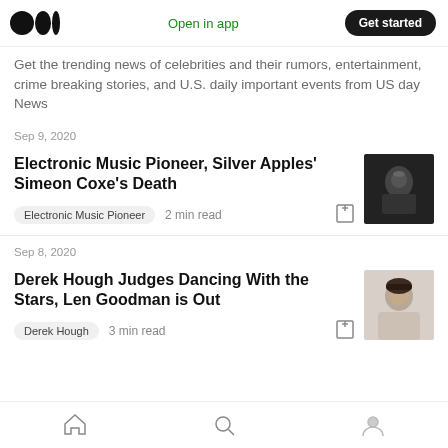Medium logo | Open in app | Get started
Get the trending news of celebrities and their rumors, entertainment, crime breaking stories, and U.S. daily important events from US day News
Sep 9, 2020
Electronic Music Pioneer, Silver Apples' Simeon Coxe's Death
Electronic Music Pioneer   2 min read
Sep 8, 2020
Derek Hough Judges Dancing With the Stars, Len Goodman is Out
Derek Hough   3 min read
Home | Search | Profile